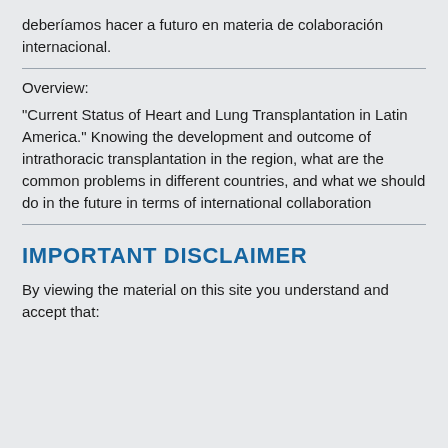deberíamos hacer a futuro en materia de colaboración internacional.
Overview:
"Current Status of Heart and Lung Transplantation in Latin America." Knowing the development and outcome of intrathoracic transplantation in the region, what are the common problems in different countries, and what we should do in the future in terms of international collaboration
IMPORTANT DISCLAIMER
By viewing the material on this site you understand and accept that: